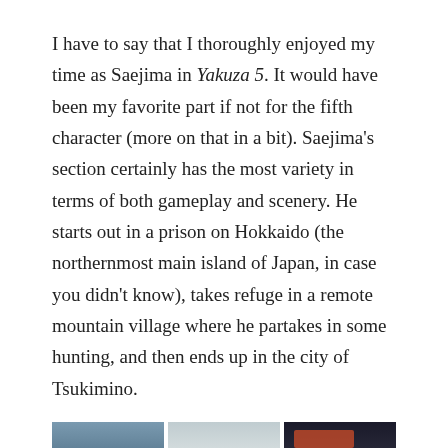I have to say that I thoroughly enjoyed my time as Saejima in Yakuza 5. It would have been my favorite part if not for the fifth character (more on that in a bit). Saejima's section certainly has the most variety in terms of both gameplay and scenery. He starts out in a prison on Hokkaido (the northernmost main island of Japan, in case you didn't know), takes refuge in a remote mountain village where he partakes in some hunting, and then ends up in the city of Tsukimino.
[Figure (screenshot): Three side-by-side game screenshots from Yakuza 5 showing Saejima in different locations: a snowy prison yard, a snowy mountain village, and a night city street.]
Although I enjoyed each of the different locales, I found Tsukimino to be very annoying due to its layout. It